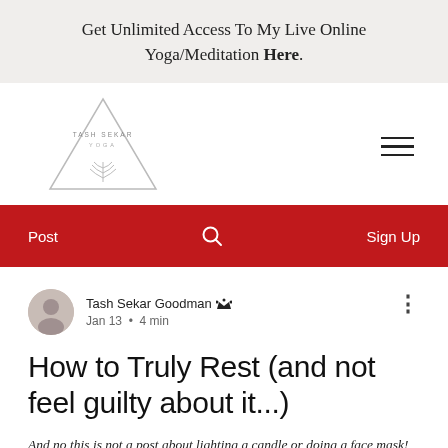Get Unlimited Access To My Live Online Yoga/Meditation Here.
[Figure (logo): Tash Sekar Yoga triangle logo with leaf/branch design]
Post   🔍   Sign Up
Tash Sekar Goodman 👑 Admin
Jan 13 • 4 min
How to Truly Rest (and not feel guilty about it...)
And no this is not a post about lighting a candle or doing a face mask!